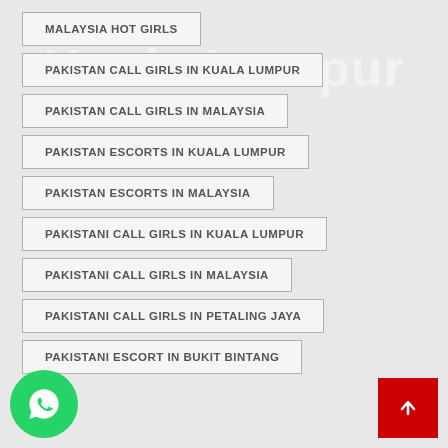MALAYSIA HOT GIRLS
PAKISTAN CALL GIRLS IN KUALA LUMPUR
PAKISTAN CALL GIRLS IN MALAYSIA
PAKISTAN ESCORTS IN KUALA LUMPUR
PAKISTAN ESCORTS IN MALAYSIA
PAKISTANI CALL GIRLS IN KUALA LUMPUR
PAKISTANI CALL GIRLS IN MALAYSIA
PAKISTANI CALL GIRLS IN PETALING JAYA
PAKISTANI ESCORT IN BUKIT BINTANG